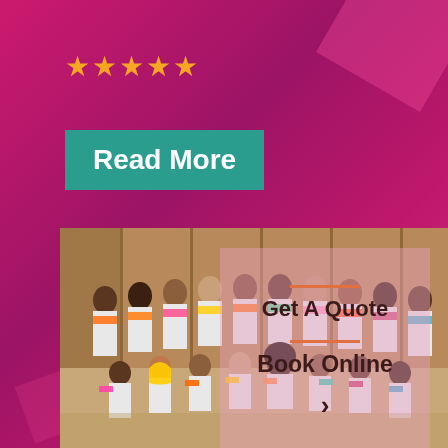[Figure (photo): Promotional graphic with magenta/pink gradient background, five orange stars rating, teal 'Read More' button, group photo of diverse children in white outfits with colorful scarves, and a semi-transparent overlay with 'Get A Quote' and 'Book Online' text]
★★★★★
Read More
Get A Quote
Book Online
>